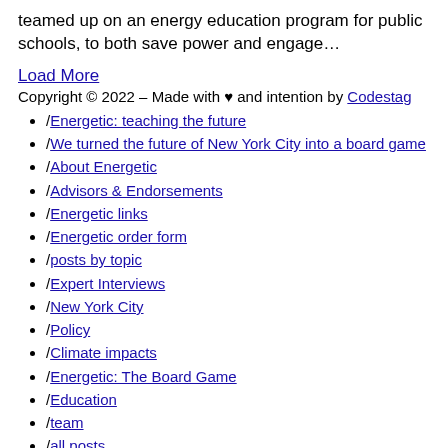teamed up on an energy education program for public schools, to both save power and engage…
Load More
Copyright © 2022 – Made with ♥ and intention by Codestag
/Energetic: teaching the future
/We turned the future of New York City into a board game
/About Energetic
/Advisors & Endorsements
/Energetic links
/Energetic order form
/posts by topic
/Expert Interviews
/New York City
/Policy
/Climate impacts
/Energetic: The Board Game
/Education
/team
/all posts
/donate